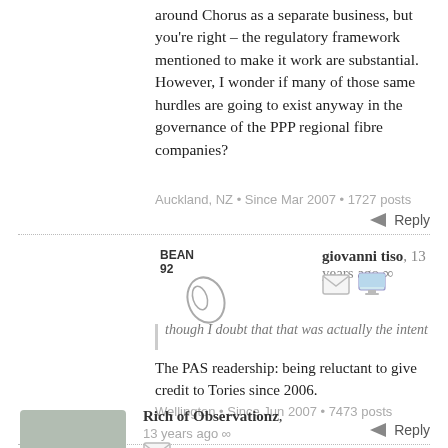around Chorus as a separate business, but you're right – the regulatory framework mentioned to make it work are substantial. However, I wonder if many of those same hurdles are going to exist anyway in the governance of the PPP regional fibre companies?
Auckland, NZ • Since Mar 2007 • 1727 posts
Reply
BEAN 92
giovanni tiso, 13 years ago ∞
though I doubt that that was actually the intent
The PAS readership: being reluctant to give credit to Tories since 2006.
Wellington • Since Jun 2007 • 7473 posts
Reply
Rich of Observationz, 13 years ago ∞